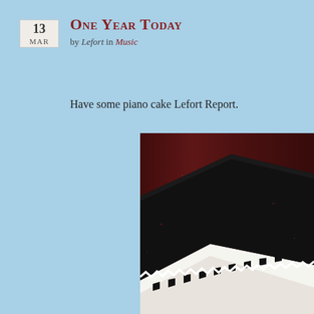13 MAR
One Year Today
by Lefort in Music
Have some piano cake Lefort Report.
[Figure (photo): Close-up photo of a piano-themed cake with black and white piano key decorations on a dark wooden surface. The cake has black fondant on top and white and black piano key pattern on the side.]